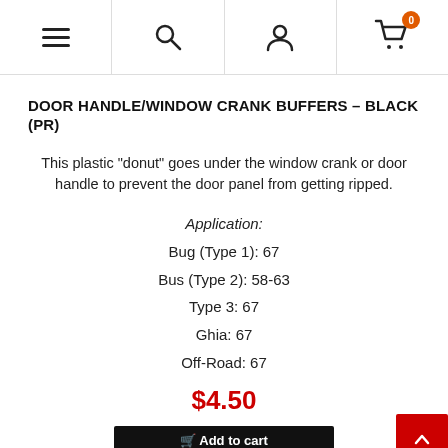Navigation bar with hamburger menu, search, user account, and cart (0 items)
DOOR HANDLE/WINDOW CRANK BUFFERS – BLACK (PR)
This plastic "donut" goes under the window crank or door handle to prevent the door panel from getting ripped.
Application:
Bug (Type 1): 67
Bus (Type 2): 58-63
Type 3: 67
Ghia: 67
Off-Road: 67
$4.50